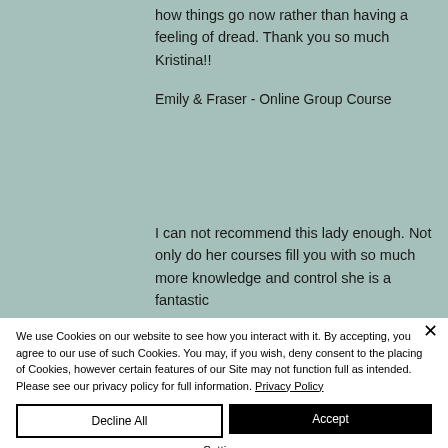how things go now rather than having a feeling of dread. Thank you so much Kristina!!
Emily & Fraser - Online Group Course
I can not recommend this lady enough. Not only do her courses fill you with so much more knowledge and control she is a fantastic
We use Cookies on our website to see how you interact with it. By accepting, you agree to our use of such Cookies. You may, if you wish, deny consent to the placing of Cookies, however certain features of our Site may not function full as intended. Please see our privacy policy for full information. Privacy Policy
Decline All
Accept
Settings